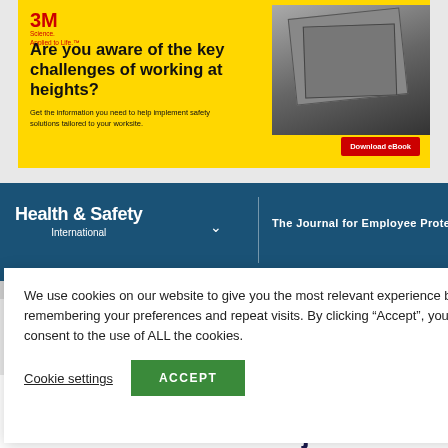[Figure (other): 3M advertisement banner with yellow background. Text: 'Are you aware of the key challenges of working at heights? Get the information you need to help implement safety solutions tailored to your worksite.' with Download eBook button.]
Health & Safety International | The Journal for Employee Protection
We use cookies on our website to give you the most relevant experience by remembering your preferences and repeat visits. By clicking “Accept”, you consent to the use of ALL the cookies.
Cookie settings  ACCEPT
Amy Williams MBE and Major Tim